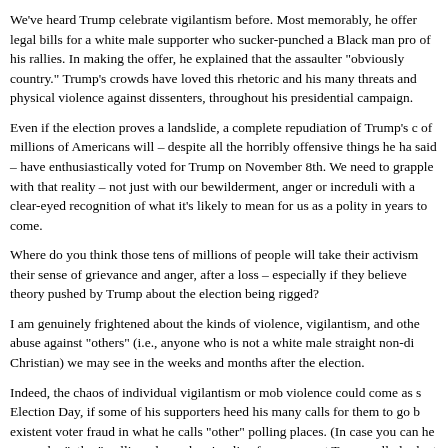We've heard Trump celebrate vigilantism before. Most memorably, he offer legal bills for a white male supporter who sucker-punched a Black man pro of his rallies. In making the offer, he explained that the assaulter "obviously country." Trump's crowds have loved this rhetoric and his many threats and physical violence against dissenters, throughout his presidential campaign.
Even if the election proves a landslide, a complete repudiation of Trump's c of millions of Americans will – despite all the horribly offensive things he ha said – have enthusiastically voted for Trump on November 8th. We need to grapple with that reality – not just with our bewilderment, anger or increduli with a clear-eyed recognition of what it's likely to mean for us as a polity in years to come.
Where do you think those tens of millions of people will take their activism their sense of grievance and anger, after a loss – especially if they believe theory pushed by Trump about the election being rigged?
I am genuinely frightened about the kinds of violence, vigilantism, and othe abuse against "others" (i.e., anyone who is not a white male straight non-di Christian) we may see in the weeks and months after the election.
Indeed, the chaos of individual vigilantism or mob violence could come as s Election Day, if some of his supporters heed his many calls for them to go b existent voter fraud in what he calls "other" polling places. (In case you can he means by "other" polling places, here's a line from a recent Trump rally look at Philadelphia, what's been going on, take a look at Chicago, take a l Louis. Take a look at some of these cities, where you see things happening horrendous.")
Crowd pleaser
There's a revealing, horrifying story Trump reportedly told on the campaign...